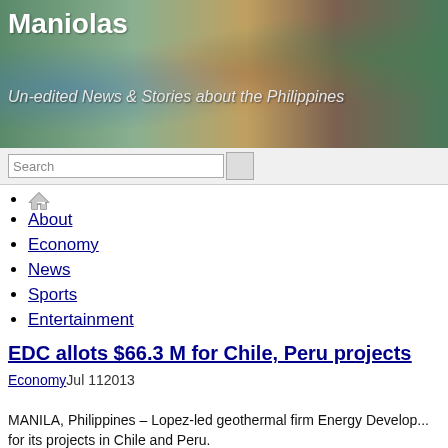Maniolas
Un-edited News & Stories about the Philippines
Home
About
Economy
News
Sports
Entertainment
EDC allots $66.3 M for Chile, Peru projects
Economy Jul 11 2013
MANILA, Philippines – Lopez-led geothermal firm Energy Develop... for its projects in Chile and Peru.